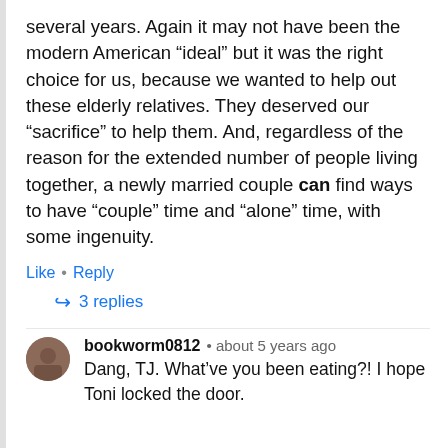several years. Again it may not have been the modern American “ideal” but it was the right choice for us, because we wanted to help out these elderly relatives. They deserved our “sacrifice” to help them. And, regardless of the reason for the extended number of people living together, a newly married couple can find ways to have “couple” time and “alone” time, with some ingenuity.
Like • Reply
3 replies
bookworm0812 • about 5 years ago
Dang, TJ. What’ve you been eating?! I hope Toni locked the door.